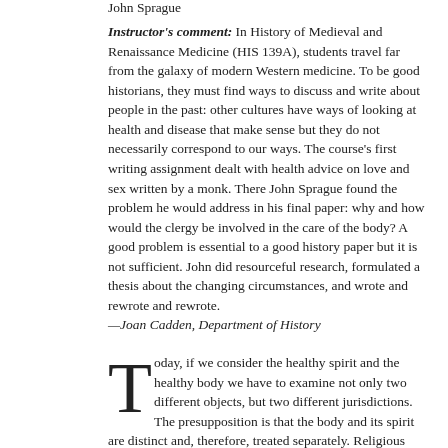John Sprague
Instructor's comment: In History of Medieval and Renaissance Medicine (HIS 139A), students travel far from the galaxy of modern Western medicine. To be good historians, they must find ways to discuss and write about people in the past: other cultures have ways of looking at health and disease that make sense but they do not necessarily correspond to our ways. The course's first writing assignment dealt with health advice on love and sex written by a monk. There John Sprague found the problem he would address in his final paper: why and how would the clergy be involved in the care of the body? A good problem is essential to a good history paper but it is not sufficient. John did resourceful research, formulated a thesis about the changing circumstances, and wrote and rewrote and rewrote.
—Joan Cadden, Department of History
Today, if we consider the healthy spirit and the healthy body we have to examine not only two different objects, but two different jurisdictions. The presupposition is that the body and its spirit are distinct and, therefore, treated separately. Religious institutions generally see to the health of the spirit, leaving the body to the physicians and their hospitals. This distinction is blurred